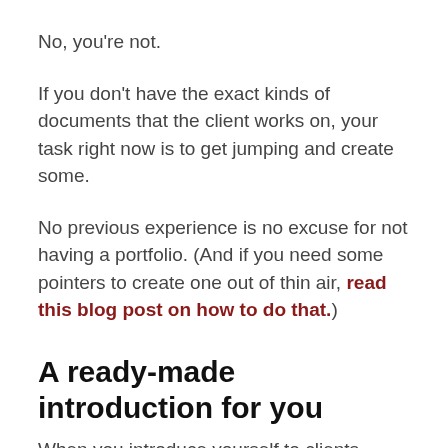No, you're not.
If you don't have the exact kinds of documents that the client works on, your task right now is to get jumping and create some.
No previous experience is no excuse for not having a portfolio. (And if you need some pointers to create one out of thin air, read this blog post on how to do that.)
A ready-made introduction for you
When you introduce yourself to clients